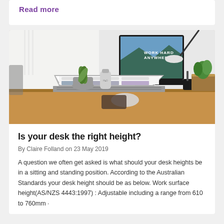Read more
[Figure (photo): A modern home office desk with a MacBook laptop open to a website, a large iMac monitor displaying 'Work Hard Anywhere' wallpaper, a small potted succulent plant, a grey water bottle, a small black pen holder, and a potted plant in a wooden planter, all on a wooden desk surface. White walls and natural light in the background.]
Is your desk the right height?
By Claire Folland on 23 May 2019
A question we often get asked is what should your desk heights be in a sitting and standing position. According to the Australian Standards your desk height should be as below. Work surface height(AS/NZS 4443:1997) : Adjustable including a range from 610 to 760mm ·